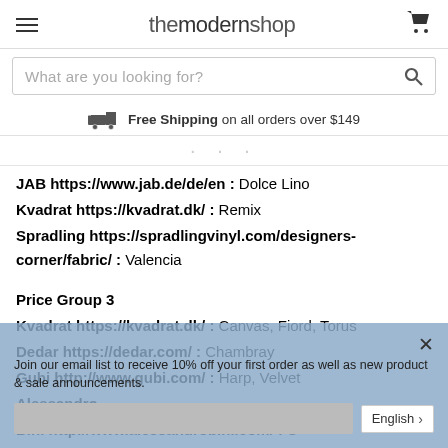themodernshop
What are you looking for?
Free Shipping on all orders over $149
JAB https://www.jab.de/de/en : Dolce Lino
Kvadrat https://kvadrat.dk/ : Remix
Spradling https://spradlingvinyl.com/designers-corner/fabric/ : Valencia
Price Group 3
Kvadrat https://kvadrat.dk/ : Canvas, Fiord, Torus
Dedar https://dedar.com/ : Chambray
Gubi http://www.gubi.com/ : Harp, Velvet
Alessandro Bini http://www.alessandrobini.com/ : S
Join our email list to receive 10% off your first order as well as new product & sale announcements.
English